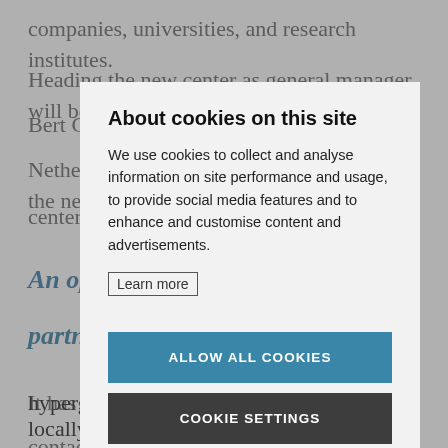companies, universities, and research institutes.
Heading the new center as general manager will be Bert G..., ..., The Netherlands. Bert gives us a short tour of the new center...
An opportunity close to the partners
It has always been necessary to keep close contacts with its partners. Even in today's hyperglobalized markets, being embedded locally
About cookies on this site
We use cookies to collect and analyse information on site performance and usage, to provide social media features and to enhance and customise content and advertisements.
Learn more
ALLOW ALL COOKIES
COOKIE SETTINGS